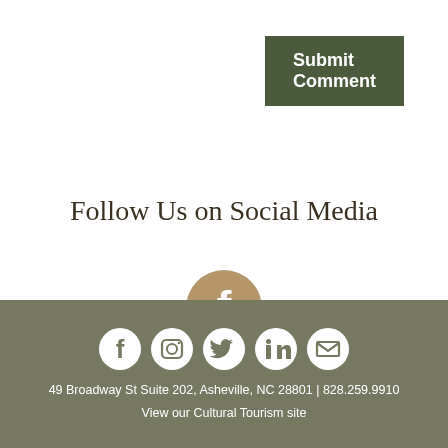[Figure (other): Submit Comment button – dark olive green rectangle with bold white text]
Follow Us on Social Media
[Figure (infographic): Three stacked circular social media icons in tan/gold: Facebook (f), Twitter (bird), Instagram (camera)]
49 Broadway St Suite 202, Asheville, NC 28801 | 828.259.9910
View our Cultural Tourism site